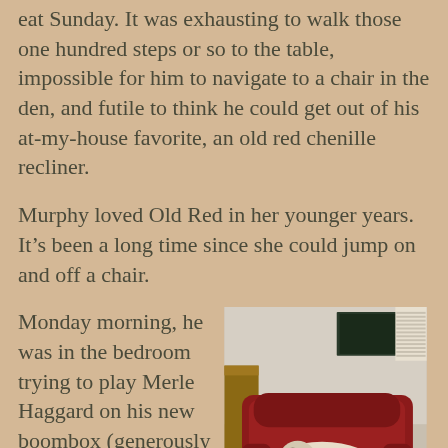eat Sunday. It was exhausting to walk those one hundred steps or so to the table, impossible for him to navigate to a chair in the den, and futile to think he could get out of his at-my-house favorite, an old red chenille recliner.
Murphy loved Old Red in her younger years. It's been a long time since she could jump on and off a chair.
[Figure (photo): A small dog (appears to be a Shih Tzu or similar breed) curled up sleeping in a large red chenille recliner chair. The room has wood furniture visible in the background and a framed picture on the wall.]
Monday morning, he was in the bedroom trying to play Merle Haggard on his new boombox (generously